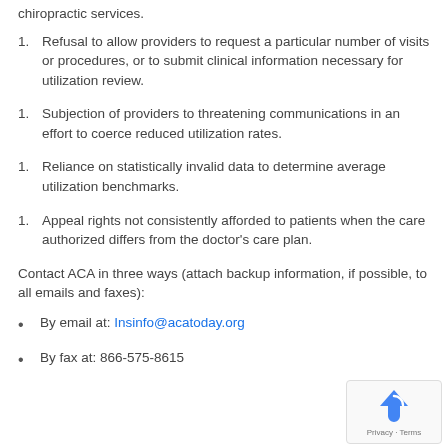chiropractic services.
Refusal to allow providers to request a particular number of visits or procedures, or to submit clinical information necessary for utilization review.
Subjection of providers to threatening communications in an effort to coerce reduced utilization rates.
Reliance on statistically invalid data to determine average utilization benchmarks.
Appeal rights not consistently afforded to patients when the care authorized differs from the doctor's care plan.
Contact ACA in three ways (attach backup information, if possible, to all emails and faxes):
By email at: Insinfo@acatoday.org
By fax at: 866-575-8615